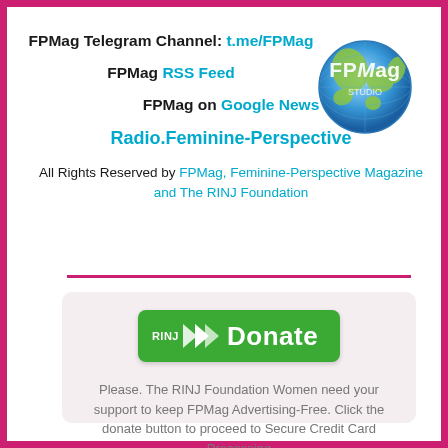FPMag Telegram Channel: t.me/FPMag
FPMag RSS Feed
FPMag on Google News
[Figure (logo): FPMag globe logo with text 'FPMag' overlaid on a globe]
Radio.Feminine-Perspective
All Rights Reserved by FPMag, Feminine-Perspective Magazine and The RINJ Foundation
[Figure (other): RINJ Donate button - green rounded rectangle with double chevron arrows and 'Donate' text]
Please. The RINJ Foundation Women need your support to keep FPMag Advertising-Free. Click the donate button to proceed to Secure Credit Card Processing